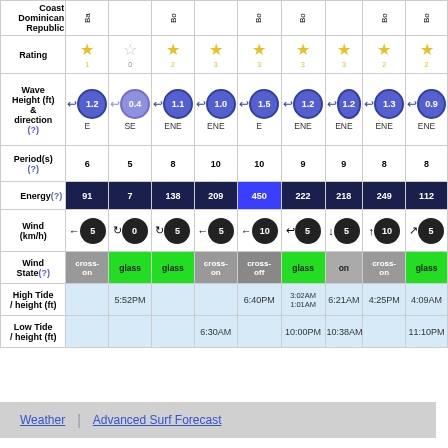|  | col1 | col2 | col3 | col4 | col5 | col6 | col7 | col8 | col9 |
| --- | --- | --- | --- | --- | --- | --- | --- | --- | --- |
| Coast Dominican Republic | Ba |  | Ba |  | Ba | Ba |  | Ba | Bo |
| Rating | 1 | 0 | 2 | 3 | 3 | 3 | 3 | 2 | 2 |
| Wave Height (ft) & direction (?) | 1.2 E | 0.4 SE | 1.1 ENE | 1.0 ENE | 1.5 E | 1.2 ENE | 1.2 ENE | 1.3 ENE | 0.9 ENE |
| Period(s) (?) | 6 | 5 | 8 | 10 | 10 | 9 | 9 | 8 | 8 |
| Energy(?) | 91 | 7 | 138 | 209 | 450 | 222 | 218 | 249 | 112 |
| Wind (km/h) | 5 | 0 | 5 | 5 | 10 | 5 | 5 | 10 | 5 |
| Wind State(?) | cross-on | glass | glass | cross-on | cross-off | glass | on | cross-on | glass |
| High Tide / height (ft) |  | 5:52PM |  |  | 6:40PM | 3:02AM 1:01AM | 6:21AM | 4:25PM | 4:09AM |
| Low Tide / height (ft) |  |  |  | 6:30AM |  | 10:00PM | 10:38AM |  | 11:10PM |
Weather | Advanced Surf Forecast